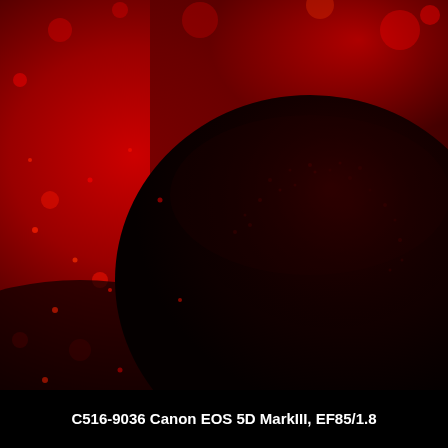[Figure (photo): Close-up macro photograph taken in red/infrared light showing a dark rough-textured spherical object (possibly a seed pod or fruit) against a deep red background with scattered red light spots and bokeh.]
C516-9036 Canon EOS 5D MarkIII, EF85/1.8